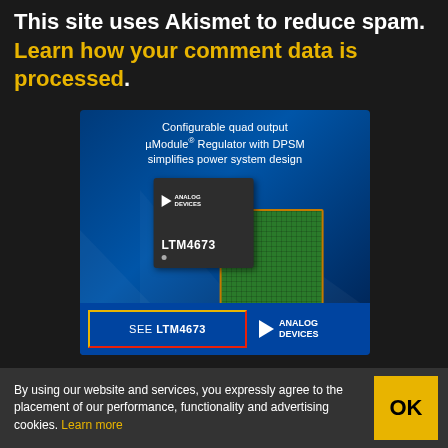This site uses Akismet to reduce spam. Learn how your comment data is processed.
[Figure (illustration): Analog Devices advertisement for LTM4673 configurable quad output µModule Regulator with DPSM. Shows a dark chip labeled LTM4673 with Analog Devices logo overlapping a green BGA component on a blue background. Bottom has 'SEE LTM4673' button and Analog Devices logo.]
By using our website and services, you expressly agree to the placement of our performance, functionality and advertising cookies. Learn more